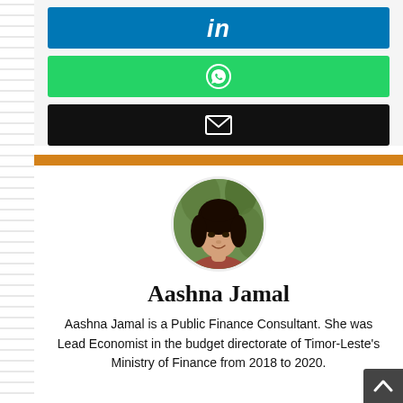[Figure (logo): LinkedIn share button (blue background with 'in' logo)]
[Figure (logo): WhatsApp share button (green background with WhatsApp icon)]
[Figure (logo): Email button (black background with envelope icon)]
[Figure (photo): Circular profile photo of Aashna Jamal, a young woman with dark hair smiling, with green foliage in background]
Aashna Jamal
Aashna Jamal is a Public Finance Consultant. She was Lead Economist in the budget directorate of Timor-Leste's Ministry of Finance from 2018 to 2020.